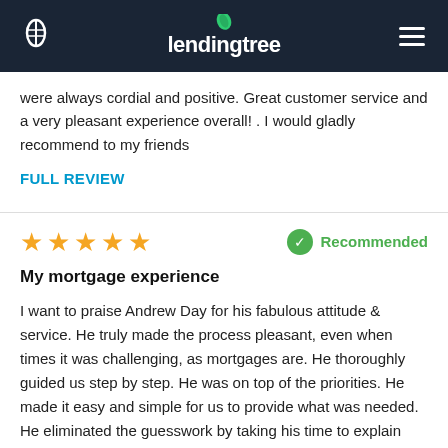lendingtree
were always cordial and positive. Great customer service and a very pleasant experience overall! . I would gladly recommend to my friends
FULL REVIEW
★★★★★  Recommended
My mortgage experience
I want to praise Andrew Day for his fabulous attitude & service. He truly made the process pleasant, even when times it was challenging, as mortgages are. He thoroughly guided us step by step. He was on top of the priorities. He made it easy and simple for us to provide what was needed. He eliminated the guesswork by taking his time to explain and follow up in a